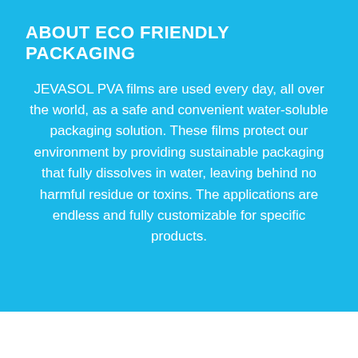ABOUT ECO FRIENDLY PACKAGING
JEVASOL PVA films are used every day, all over the world, as a safe and convenient water-soluble packaging solution. These films protect our environment by providing sustainable packaging that fully dissolves in water, leaving behind no harmful residue or toxins. The applications are endless and fully customizable for specific products.